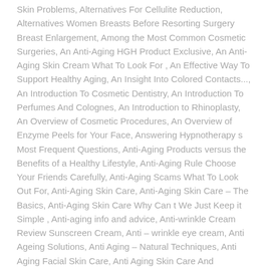Skin Problems, Alternatives For Cellulite Reduction, Alternatives Women Breasts Before Resorting Surgery Breast Enlargement, Among the Most Common Cosmetic Surgeries, An Anti-Aging HGH Product Exclusive, An Anti-Aging Skin Cream What To Look For , An Effective Way To Support Healthy Aging, An Insight Into Colored Contacts..., An Introduction To Cosmetic Dentistry, An Introduction To Perfumes And Colognes, An Introduction to Rhinoplasty, An Overview of Cosmetic Procedures, An Overview of Enzyme Peels for Your Face, Answering Hypnotherapy s Most Frequent Questions, Anti-Aging Products versus the Benefits of a Healthy Lifestyle, Anti-Aging Rule Choose Your Friends Carefully, Anti-Aging Scams What To Look Out For, Anti-Aging Skin Care, Anti-Aging Skin Care – The Basics, Anti-Aging Skin Care Why Can t We Just Keep it Simple , Anti-aging info and advice, Anti-wrinkle Cream Review Sunscreen Cream, Anti – wrinkle eye cream, Anti Ageing Solutions, Anti Aging – Natural Techniques, Anti Aging Facial Skin Care, Anti Aging Skin Care And